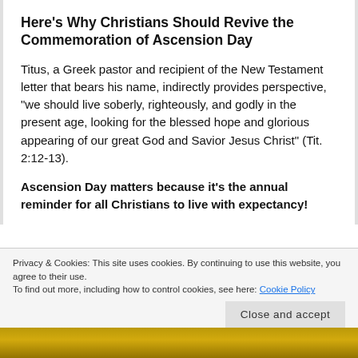Here's Why Christians Should Revive the Commemoration of Ascension Day
Titus, a Greek pastor and recipient of the New Testament letter that bears his name, indirectly provides perspective, “we should live soberly, righteously, and godly in the present age, looking for the blessed hope and glorious appearing of our great God and Savior Jesus Christ” (Tit. 2:12-13).
Ascension Day matters because it’s the annual reminder for all Christians to live with expectancy!
Privacy & Cookies: This site uses cookies. By continuing to use this website, you agree to their use.
To find out more, including how to control cookies, see here: Cookie Policy
Close and accept
[Figure (photo): Partial view of a photo strip at the bottom of the page, showing yellow/gold tones suggesting a field or outdoor scene]